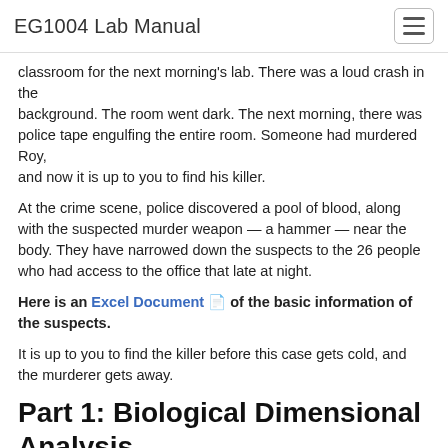EG1004 Lab Manual
classroom for the next morning's lab. There was a loud crash in the background. The room went dark. The next morning, there was police tape engulfing the entire room. Someone had murdered Roy, and now it is up to you to find his killer.
At the crime scene, police discovered a pool of blood, along with the suspected murder weapon — a hammer — near the body. They have narrowed down the suspects to the 26 people who had access to the office that late at night.
Here is an Excel Document 🗐 of the basic information of the suspects.
It is up to you to find the killer before this case gets cold, and the murderer gets away.
Part 1: Biological Dimensional Analysis
Obtain a measuring stick and measure the length of your foot.
Next measure the length of your arm span from fingertip to fingertip (This is about the measurement of your height)